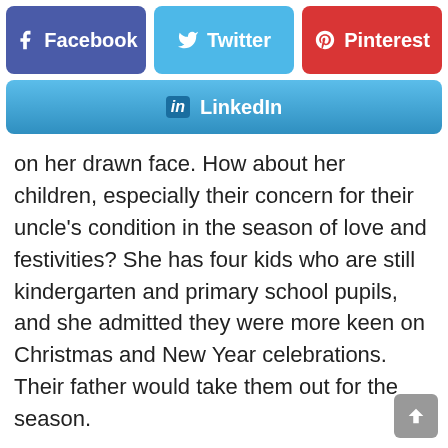[Figure (infographic): Social media share buttons: Facebook (dark blue), Twitter (light blue), Pinterest (red), and LinkedIn (gradient blue) sharing buttons]
on her drawn face. How about her children, especially their concern for their uncle's condition in the season of love and festivities? She has four kids who are still kindergarten and primary school pupils, and she admitted they were more keen on Christmas and New Year celebrations. Their father would take them out for the season.
So, when was the brother expected to be discharged? February, she said and added she would be visiting daily to be with him. Even on Christmas and New Year Days? For her, those